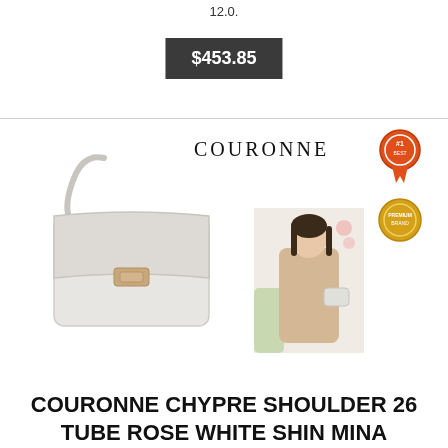12.0.
$453.85
[Figure (photo): Product listing image for COURONNE handbag. Shows a white COURONNE Chypre Shoulder 26 Tube Rose handbag with shoulder strap against white background, alongside a model photo showing a woman carrying the bag. Includes COURONNE brand logo text, a red #1 award badge, and a gold premium badge.]
COURONNE CHYPRE SHOULDER 26 TUBE ROSE WHITE SHIN MINA